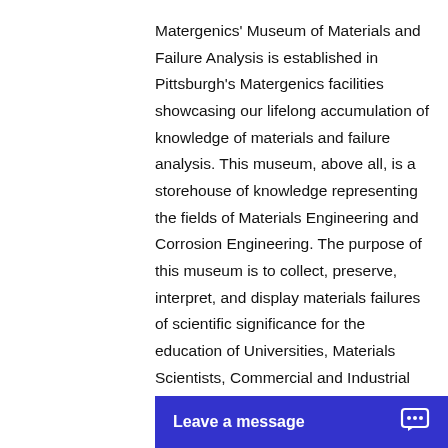Matergenics' Museum of Materials and Failure Analysis is established in Pittsburgh's Matergenics facilities showcasing our lifelong accumulation of knowledge of materials and failure analysis. This museum, above all, is a storehouse of knowledge representing the fields of Materials Engineering and Corrosion Engineering. The purpose of this museum is to collect, preserve, interpret, and display materials failures of scientific significance for the education of Universities, Materials Scientists, Commercial and Industrial Companies and the public. From a visitor or technical community perspective, the purpose can also depend on one's point of view. A trip to Matergenics museum can be an entertaining a... spend the day. T...
Leave a message